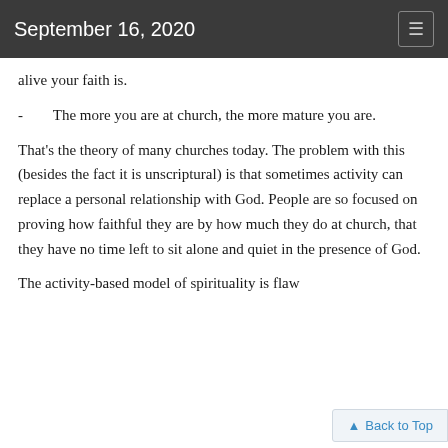September 16, 2020
alive your faith is.
-        The more you are at church, the more mature you are.
That's the theory of many churches today. The problem with this (besides the fact it is unscriptural) is that sometimes activity can replace a personal relationship with God. People are so focused on proving how faithful they are by how much they do at church, that they have no time left to sit alone and quiet in the presence of God.
The activity-based model of spirituality is flaw
Back to Top